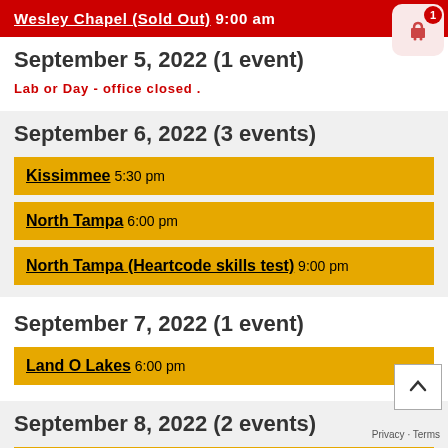Wesley Chapel (Sold Out) 9:00 am
September 5, 2022 (1 event)
Labor Day - office closed .
September 6, 2022 (3 events)
Kissimmee 5:30 pm
North Tampa 6:00 pm
North Tampa (Heartcode skills test) 9:00 pm
September 7, 2022 (1 event)
Land O Lakes 6:00 pm
September 8, 2022 (2 events)
Zephyrhills 11:00 am
Port Richey 6:00 pm